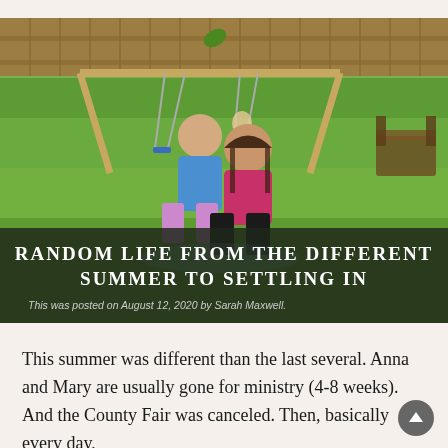[Figure (photo): Two girls posing in a backyard with green grass, a wooden swing set in the background, a wooden fence, and a bench on the right. One girl wears a blue shirt, the other a pink/magenta shirt. There is a sprinkler mist visible.]
RANDOM LIFE FROM THE DIFFERENT SUMMER TO SETTLING IN
This was posted on August 12, 2020 by Sarah Maxwell.
This summer was different than the last several. Anna and Mary are usually gone for ministry (4-8 weeks). And the County Fair was canceled. Then, basically every day,